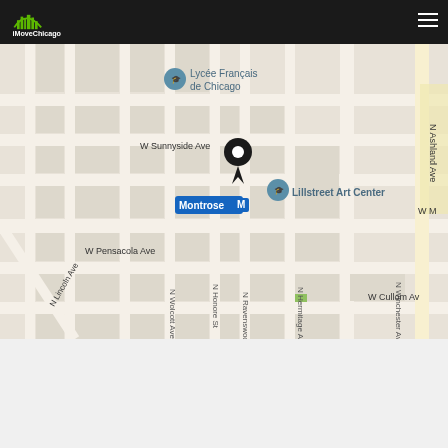[Figure (logo): iMoveChicago logo with green city skyline icon on dark header bar]
[Figure (map): Google Maps view of Chicago neighborhood near Montrose, showing streets including W Sunnyside Ave, N Lincoln Ave, W Pensacola Ave, N Winchester Ave, N Wolcott Ave, N Honore St, N Ravenswood Ave, N Hermitage Ave, W Cullom Ave, N Ashland Ave, with location pin, Montrose M (metro) marker, Lillstreet Art Center marker, and Lycee Francais de Chicago marker]